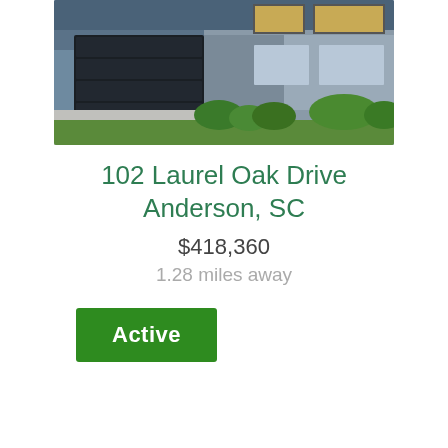[Figure (photo): Exterior photo of a residential home with dark garage door, stone and siding facade, landscaping with green bushes and lawn]
102 Laurel Oak Drive
Anderson, SC
$418,360
1.28 miles away
Active